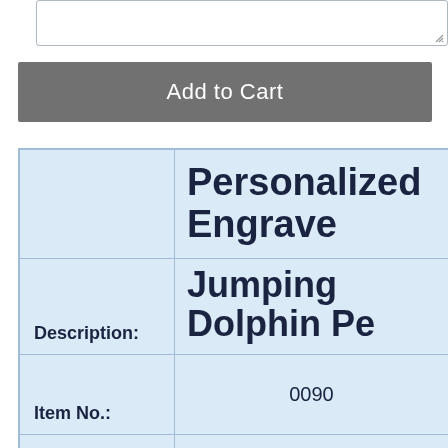[Figure (screenshot): Text area input box (empty)]
Add to Cart
|  |  |
| --- | --- |
|  | Personalized Engrave... |
| Description: | Jumping Dolphin Pe... |
| Item No.: | 0090 |
| Metal | 10k or 14k |